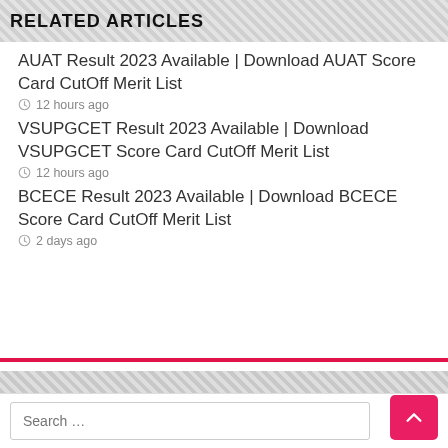RELATED ARTICLES
AUAT Result 2023 Available | Download AUAT Score Card CutOff Merit List
12 hours ago
VSUPGCET Result 2023 Available | Download VSUPGCET Score Card CutOff Merit List
12 hours ago
BCECE Result 2023 Available | Download BCECE Score Card CutOff Merit List
2 days ago
Search …